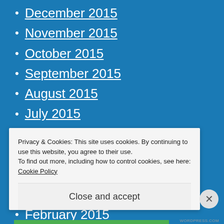December 2015
November 2015
October 2015
September 2015
August 2015
July 2015
June 2015
May 2015
April 2015
March 2015
February 2015
Privacy & Cookies: This site uses cookies. By continuing to use this website, you agree to their use.
To find out more, including how to control cookies, see here: Cookie Policy
Close and accept